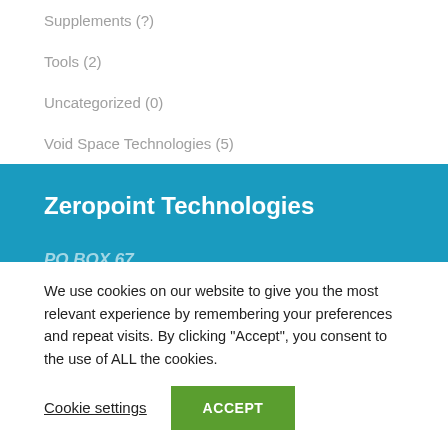Supplements (?)
Tools (2)
Uncategorized (0)
Void Space Technologies (5)
Zeropoint Technologies
PO BOX 67
We use cookies on our website to give you the most relevant experience by remembering your preferences and repeat visits. By clicking “Accept”, you consent to the use of ALL the cookies.
Cookie settings
ACCEPT